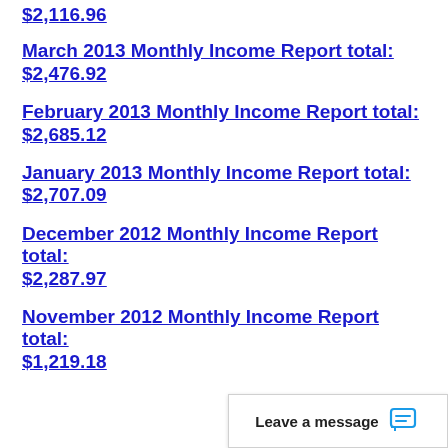$2,116.96
March 2013 Monthly Income Report total: $2,476.92
February 2013 Monthly Income Report total: $2,685.12
January 2013 Monthly Income Report total: $2,707.09
December 2012 Monthly Income Report total: $2,287.97
November 2012 Monthly Income Report total: $1,219.18